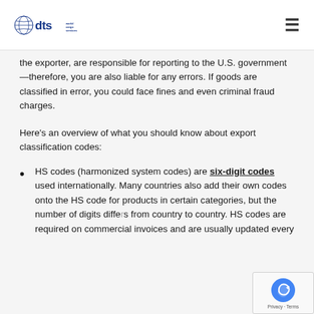DTS World Cargo Services
the exporter, are responsible for reporting to the U.S. government—therefore, you are also liable for any errors. If goods are classified in error, you could face fines and even criminal fraud charges.
Here's an overview of what you should know about export classification codes:
HS codes (harmonized system codes) are six-digit codes used internationally. Many countries also add their own codes onto the HS code for products in certain categories, but the number of digits differs from country to country. HS codes are required on commercial invoices and are usually updated every